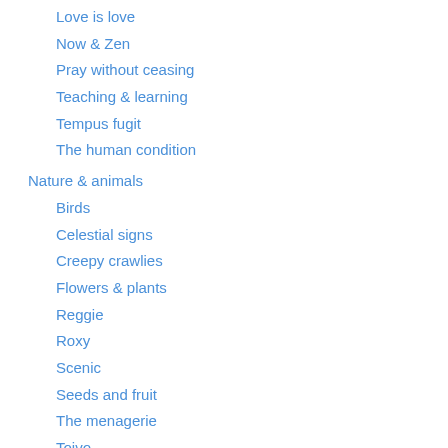Love is love
Now & Zen
Pray without ceasing
Teaching & learning
Tempus fugit
The human condition
Nature & animals
Birds
Celestial signs
Creepy crawlies
Flowers & plants
Reggie
Roxy
Scenic
Seeds and fruit
The menagerie
Toivo
Trees
Off the wall
Alien eyes